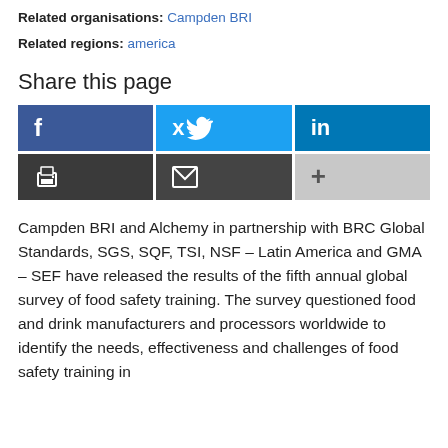Related organisations: Campden BRI
Related regions: america
Share this page
[Figure (other): Social sharing buttons: Facebook, Twitter, LinkedIn, Print, Email, More (+)]
Campden BRI and Alchemy in partnership with BRC Global Standards, SGS, SQF, TSI, NSF – Latin America and GMA – SEF have released the results of the fifth annual global survey of food safety training. The survey questioned food and drink manufacturers and processors worldwide to identify the needs, effectiveness and challenges of food safety training in